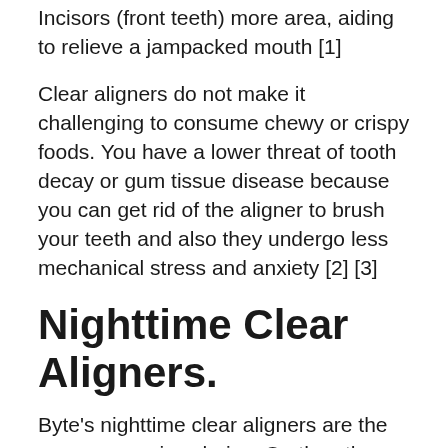Incisors (front teeth) more area, aiding to relieve a jampacked mouth [1]
Clear aligners do not make it challenging to consume chewy or crispy foods. You have a lower threat of tooth decay or gum tissue disease because you can get rid of the aligner to brush your teeth and also they undergo less mechanical stress and anxiety [2] [3]
Nighttime Clear Aligners.
Byte's nighttime clear aligners are the more expensive choice. On the other hand, you may discover them more convenient as they are developed to just be used for 10 hrs in the evening, primarily while you're resting.